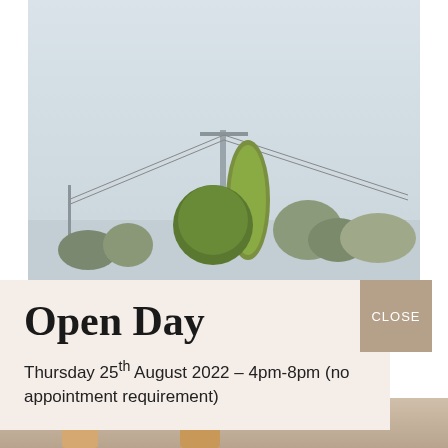[Figure (photo): Outdoor photo showing a pale grey-blue sky with power lines strung from a telegraph pole in the center, and green trees (including a tall poplar) visible in the lower portion of the image.]
Open Day
Thursday 25th August 2022 – 4pm-8pm (no appointment requirement)
[Figure (photo): Bottom strip showing a partial photo of a person.]